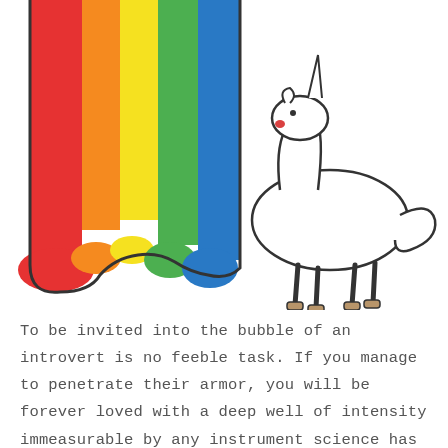[Figure (illustration): A cartoon illustration of a white unicorn facing left, with a horn, simple facial features including a red nose/mouth, brown hooves, and a curly tail. To the left of the unicorn are vertical rainbow stripes (red, orange, yellow, green, blue) that pool at the bottom in rounded puddle shapes, enclosed by a dark border at the bottom-left.]
To be invited into the bubble of an introvert is no feeble task. If you manage to penetrate their armor, you will be forever loved with a deep well of intensity immeasurable by any instrument science has or can